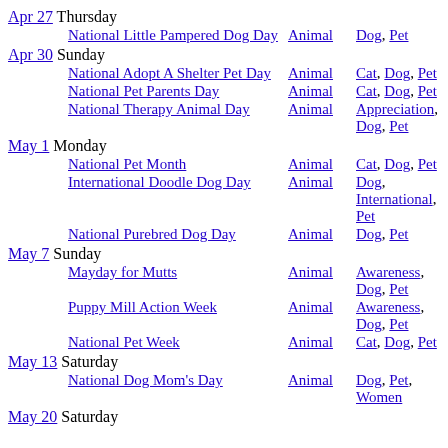Apr 27 Thursday
National Little Pampered Dog Day | Animal | Dog, Pet
Apr 30 Sunday
National Adopt A Shelter Pet Day | Animal | Cat, Dog, Pet
National Pet Parents Day | Animal | Cat, Dog, Pet
National Therapy Animal Day | Animal | Appreciation, Dog, Pet
May 1 Monday
National Pet Month | Animal | Cat, Dog, Pet
International Doodle Dog Day | Animal | Dog, International, Pet
National Purebred Dog Day | Animal | Dog, Pet
May 7 Sunday
Mayday for Mutts | Animal | Awareness, Dog, Pet
Puppy Mill Action Week | Animal | Awareness, Dog, Pet
National Pet Week | Animal | Cat, Dog, Pet
May 13 Saturday
National Dog Mom's Day | Animal | Dog, Pet, Women
May 20 Saturday